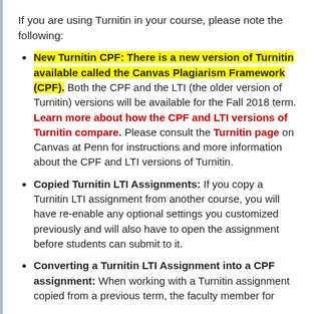If you are using Turnitin in your course, please note the following:
New Turnitin CPF: There is a new version of Turnitin available called the Canvas Plagiarism Framework (CPF). Both the CPF and the LTI (the older version of Turnitin) versions will be available for the Fall 2018 term. Learn more about how the CPF and LTI versions of Turnitin compare. Please consult the Turnitin page on Canvas at Penn for instructions and more information about the CPF and LTI versions of Turnitin.
Copied Turnitin LTI Assignments: If you copy a Turnitin LTI assignment from another course, you will have re-enable any optional settings you customized previously and will also have to open the assignment before students can submit to it.
Converting a Turnitin LTI Assignment into a CPF assignment: When working with a Turnitin assignment copied from a previous term, the faculty member for